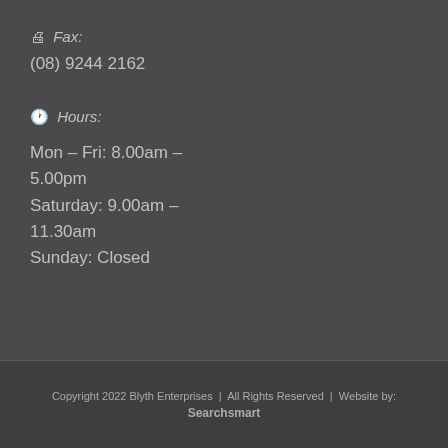🖨 Fax: (08) 9244 2162
🕐 Hours: Mon – Fri: 8.00am – 5.00pm Saturday: 9.00am – 11.30am Sunday: Closed
Copyright 2022 Blyth Enterprises | All Rights Reserved | Website by: Searchsmart